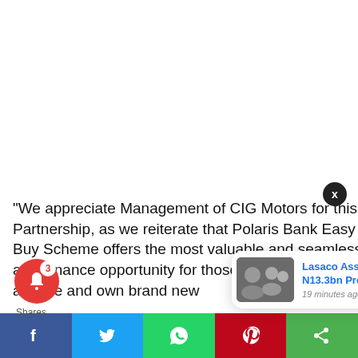[Figure (photo): White blank area at the top of a news article page]
“We appreciate Management of CIG Motors for this Partnership, as we reiterate that Polaris Bank Easy Buy Scheme offers the most valuable and seamless auto finance opportunity for those who wish to acquire and own brand new
[Figure (screenshot): Notification popup showing 'Lasaco Assurance Records N13.3bn Premium Income' with thumbnail image, 19 minutes ago]
[Figure (infographic): Social sharing bar with Facebook, Twitter, WhatsApp, Pinterest, and share icons. Red bell notification button with badge showing 3.]